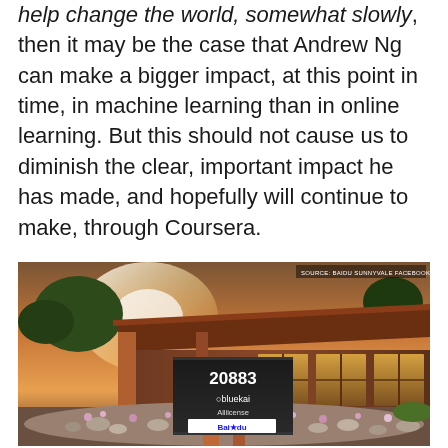help change the world, somewhat slowly, then it may be the case that Andrew Ng can make a bigger impact, at this point in time, in machine learning than in online learning. But this should not cause us to diminish the clear, important impact he has made, and hopefully will continue to make, through Coursera.
[Figure (photo): Exterior photograph of a building at 20883, showing a monument sign with logos for bluekai, Alliicense, and Baidu, surrounded by flowering plants and rocks at dusk/sunset. Source: Baidu Sunnyvale Facebook page.]